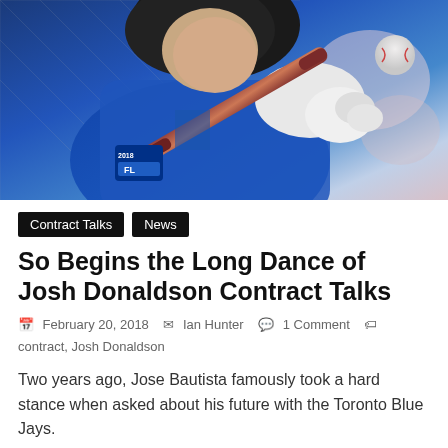[Figure (photo): Baseball player in blue Toronto Blue Jays uniform swinging a bat, wearing white batting gloves, with a ball visible in the background. Player wears a 2018 Florida spring training patch.]
Contract Talks
News
So Begins the Long Dance of Josh Donaldson Contract Talks
February 20, 2018  Ian Hunter  1 Comment  contract, Josh Donaldson
Two years ago, Jose Bautista famously took a hard stance when asked about his future with the Toronto Blue Jays.
Read more